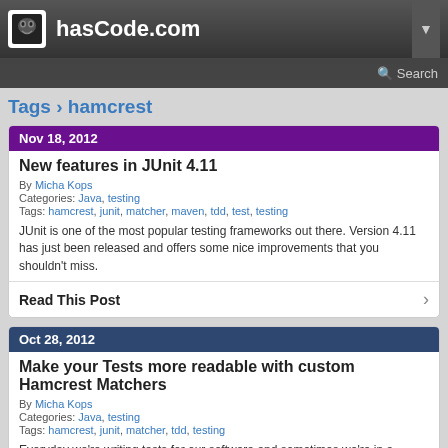hasCode.com
Search
Tags › hamcrest
Nov 18, 2012
New features in JUnit 4.11
By Micha Kops
Categories: Java, testing
Tags: hamcrest, junit, matcher, maven, tdd, test, testing
JUnit is one of the most popular testing frameworks out there. Version 4.11 has just been released and offers some nice improvements that you shouldn't miss.
Read This Post
Oct 28, 2012
Make your Tests more readable with custom Hamcrest Matchers
By Micha Kops
Categories: Java, testing
Tags: hamcrest, junit, matcher, tdd, testing
Everyday we're writing tests for our software and sometimes we're in a